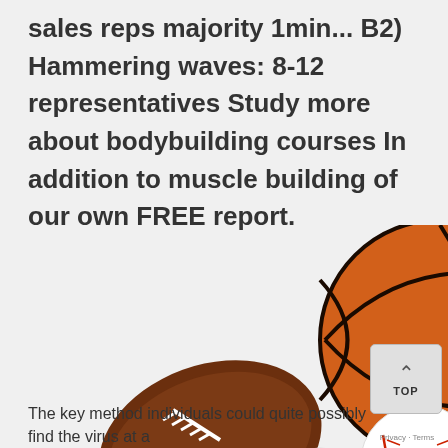sales reps majority 1min... B2) Hammering waves: 8-12 representatives Study more about bodybuilding courses In addition to muscle building of our own FREE report.
[Figure (photo): A collection of sports balls and equipment including a basketball, soccer ball, American football, baseball, golf ball, hockey puck, badminton shuttlecock, and tennis ball arranged together.]
The key method individuals could quite possibly find the virus at a